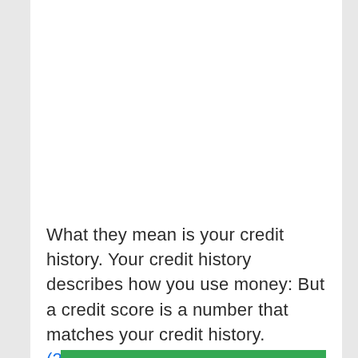What they mean is your credit history. Your credit history describes how you use money: But a credit score is a number that matches your credit history. (21) ...